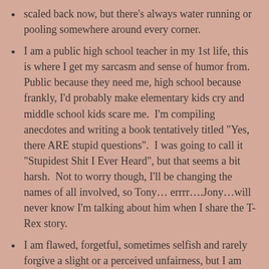scaled back now, but there’s always water running or pooling somewhere around every corner.
I am a public high school teacher in my 1st life, this is where I get my sarcasm and sense of humor from.  Public because they need me, high school because frankly, I’d probably make elementary kids cry and middle school kids scare me.  I’m compiling anecdotes and writing a book tentatively titled “Yes, there ARE stupid questions”.  I was going to call it “Stupidest Shit I Ever Heard”, but that seems a bit harsh.  Not to worry though, I’ll be changing the names of all involved, so Tony… errrr….Jony…will never know I’m talking about him when I share the T-Rex story.
I am flawed, forgetful, sometimes selfish and rarely forgive a slight or a perceived unfairness, but I am also possessive, protective and loyal to my friends, responsible and dependable most of the time (see the forgetful part), and a good person